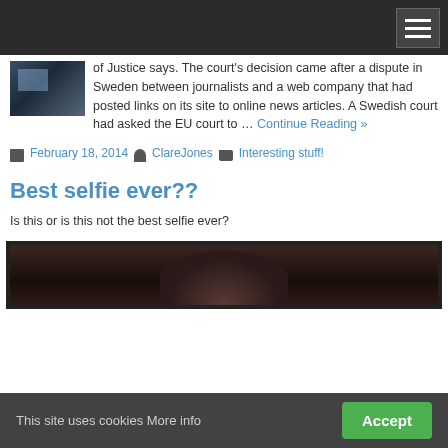of Justice says. The court's decision came after a dispute in Sweden between journalists and a web company that had posted links on its site to online news articles. A Swedish court had asked the EU court to … Continue Reading »
February 18, 2014  ClareJones  Interesting stuff!
Best selfie ever??
Is this or is this not the best selfie ever?
[Figure (photo): Partially visible photo of a person, cropped at bottom of the page]
This site uses cookies More info  Accept